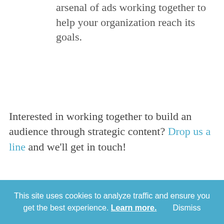arsenal of ads working together to help your organization reach its goals.
Interested in working together to build an audience through strategic content? Drop us a line and we'll get in touch!
[Figure (illustration): A computer monitor with a news/content layout displayed on an orange/yellow background, surrounded by geometric paper airplane shapes on a light beige background.]
This site uses cookies to analyze traffic and ensure you get the best experience. Learn more. Dismiss